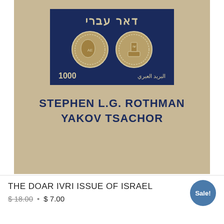[Figure (photo): Book cover of 'The Doar Ivri Issue of Israel' by Stephen L.G. Rothman and Yakov Tsachor. Beige/tan cover with a navy blue stamp image showing two ancient coins and Hebrew text 'Doar Ivri', number 1000, and Arabic text. Authors' names printed in dark blue bold text below the stamp.]
THE DOAR IVRI ISSUE OF ISRAEL
$18.00 • $ 7.00